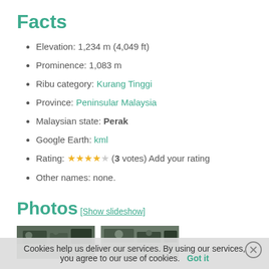Facts
Elevation: 1,234 m (4,049 ft)
Prominence: 1,083 m
Ribu category: Kurang Tinggi
Province: Peninsular Malaysia
Malaysian state: Perak
Google Earth: kml
Rating: ★★★★☆ (3 votes) Add your rating
Other names: none.
Photos
[Show slideshow]
[Figure (photo): Two thumbnail photos of a mountain/forested area]
Cookies help us deliver our services. By using our services, you agree to our use of cookies. Got it